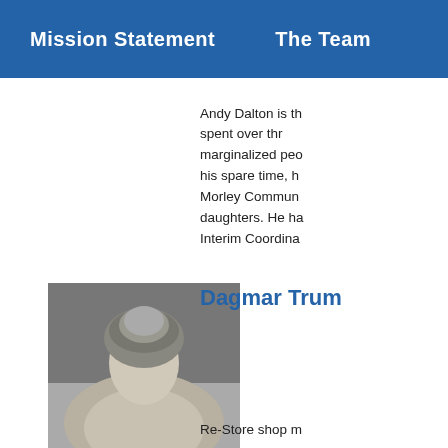Mission Statement    The Team
Andy Dalton is th[e ...] spent over thr[ee decades working with] marginalized peo[ple...] his spare time, h[e volunteers with] Morley Commun[ity...] daughters. He ha[s served as] Interim Coordina[tor...]
[Figure (photo): Black and white photo of Dagmar Trum, showing a person with hair pulled back, photographed from above/front angle]
Dagmar Trum
Re-Store shop m[anager...]